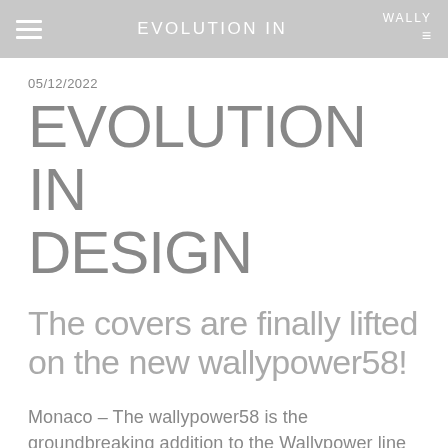EVOLUTION IN
05/12/2022
EVOLUTION IN DESIGN
The covers are finally lifted on the new wallypower58!
Monaco – The wallypower58 is the groundbreaking addition to the Wallypower line